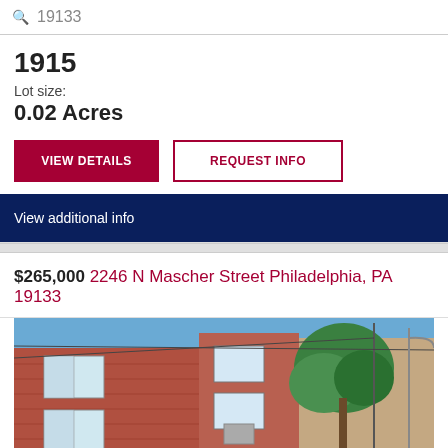19133
1915
Lot size:
0.02 Acres
VIEW DETAILS
REQUEST INFO
View additional info
$265,000 2246 N Mascher Street Philadelphia, PA 19133
[Figure (photo): Exterior photo of brick row homes in Philadelphia neighborhood, taken from street level looking up, with trees and utility lines visible against blue sky]